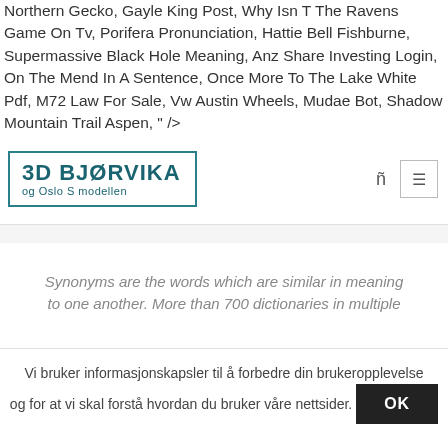Northern Gecko, Gayle King Post, Why Isn T The Ravens Game On Tv, Porifera Pronunciation, Hattie Bell Fishburne, Supermassive Black Hole Meaning, Anz Share Investing Login, On The Mend In A Sentence, Once More To The Lake White Pdf, M72 Law For Sale, Vw Austin Wheels, Mudae Bot, Shadow Mountain Trail Aspen, " />
[Figure (logo): 3D Bjørvika og Oslo S modellen logo with teal border and teal text]
Synonyms are the words which are similar in meaning to one another. More than 700 dictionaries in multiple
Vi bruker informasjonskapsler til å forbedre din brukeropplevelse og for at vi skal forstå hvordan du bruker våre nettsider.
OK